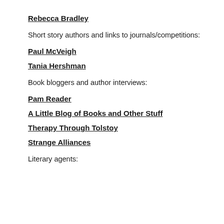Rebecca Bradley
Short story authors and links to journals/competitions:
Paul McVeigh
Tania Hershman
Book bloggers and author interviews:
Pam Reader
A Little Blog of Books and Other Stuff
Therapy Through Tolstoy
Strange Alliances
Literary agents: